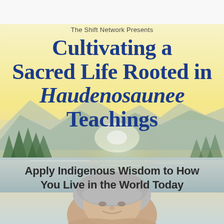[Figure (illustration): Book or course cover image with a soft watercolor landscape background featuring mountains, a lake, green trees, and a bright sunrise/sunset glow in yellows and soft blues. A woman with short gray hair is visible at the bottom center, smiling warmly.]
The Shift Network Presents
Cultivating a Sacred Life Rooted in Haudenosaunee Teachings
Apply Indigenous Wisdom to How You Live in the World Today